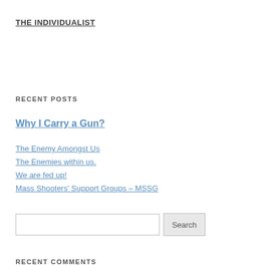THE INDIVIDUALIST
RECENT POSTS
Why I Carry a Gun?
The Enemy Amongst Us
The Enemies within us.
We are fed up!
Mass Shooters' Support Groups – MSSG
RECENT COMMENTS